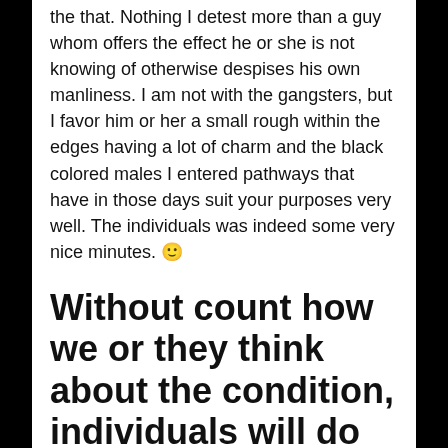the that. Nothing I detest more than a guy whom offers the effect he or she is not knowing of otherwise despises his own manliness. I am not with the gangsters, but I favor him or her a small rough within the edges having a lot of charm and the black colored males I entered pathways that have in those days suit your purposes very well. The individuals was indeed some very nice minutes. 🙂
Without count how we or they think about the condition, individuals will do what they want and ought to love which it require
I happened to be delivered to believe that that you